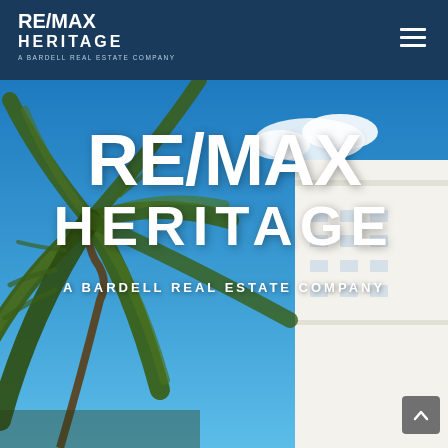[Figure (logo): RE/MAX Heritage – A Bardell Real Estate Company logo in white text on dark navy background, top-left of navigation bar]
[Figure (photo): Hero image: upward view of palm tree fronds against a bright blue sky with a white modern building visible in the upper right. Overlaid with large white bold text: RE/MAX HERITAGE A BARDELL REAL ESTATE COMPANY]
RE/MAX HERITAGE
A BARDELL REAL ESTATE COMPANY